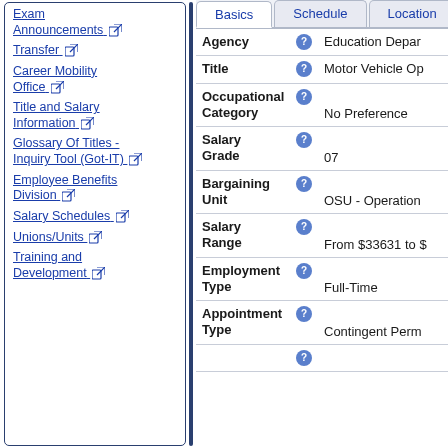Exam Announcements [external link]
Transfer [external link]
Career Mobility Office [external link]
Title and Salary Information [external link]
Glossary Of Titles - Inquiry Tool (Got-IT) [external link]
Employee Benefits Division [external link]
Salary Schedules [external link]
Unions/Units [external link]
Training and Development [external link]
| Field | Help | Value |
| --- | --- | --- |
| Agency | ? | Education Depar... |
| Title | ? | Motor Vehicle Op... |
| Occupational Category | ? | No Preference |
| Salary Grade | ? | 07 |
| Bargaining Unit | ? | OSU - Operation... |
| Salary Range | ? | From $33631 to $... |
| Employment Type | ? | Full-Time |
| Appointment Type | ? | Contingent Perm... |
|  | ? |  |